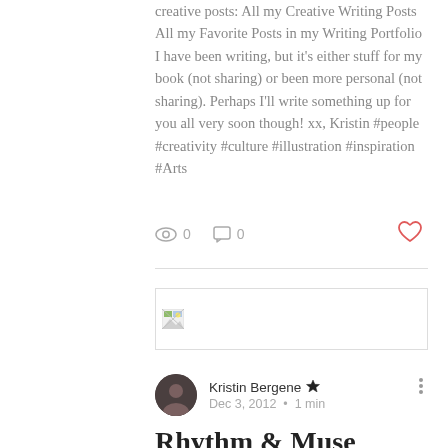creative posts: All my Creative Writing Posts All my Favorite Posts in my Writing Portfolio I have been writing, but it's either stuff for my book (not sharing) or been more personal (not sharing). Perhaps I'll write something up for you all very soon though! xx, Kristin #people #creativity #culture #illustration #inspiration #Arts
0  0
[Figure (photo): Thumbnail image placeholder for a blog post]
Kristin Bergene  Dec 3, 2012 · 1 min
Rhythm & Muse Festival